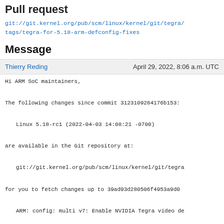Pull request
git://git.kernel.org/pub/scm/linux/kernel/git/tegra/
tags/tegra-for-5.18-arm-defconfig-fixes
Message
Thierry Reding    April 29, 2022, 8:06 a.m. UTC
Hi ARM SoC maintainers,

The following changes since commit 3123109284176b153:

   Linux 5.18-rc1 (2022-04-03 14:08:21 -0700)

are available in the Git repository at:

   git://git.kernel.org/pub/scm/linux/kernel/git/tegra

for you to fetch changes up to 39ad93d280506f4953a9d0

   ARM: config: multi v7: Enable NVIDIA Tegra video de

Thanks,
Thierry
----------------------------------------------------------------
ARM: tegra: Default configuration fixes for v5.18